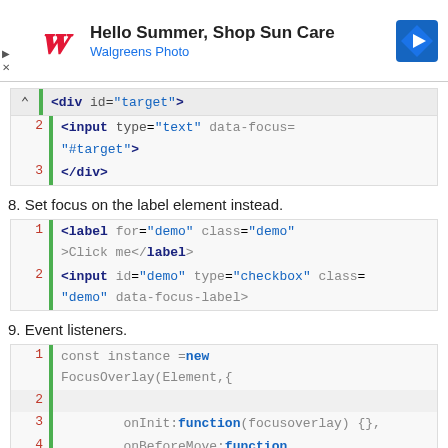[Figure (screenshot): Walgreens ad banner: Hello Summer, Shop Sun Care]
[Figure (screenshot): Code block showing collapsed div with input type=text data-focus=#target]
8. Set focus on the label element instead.
[Figure (screenshot): Code block: label for=demo class=demo >Click me</label> and input id=demo type=checkbox class=demo data-focus-label>]
9. Event listeners.
[Figure (screenshot): Code block: const instance =new FocusOverlay(Element,{ line 2 blank, line 3 onInit:function(focusoverlay) {}, line 4 onBeforeMove:function]